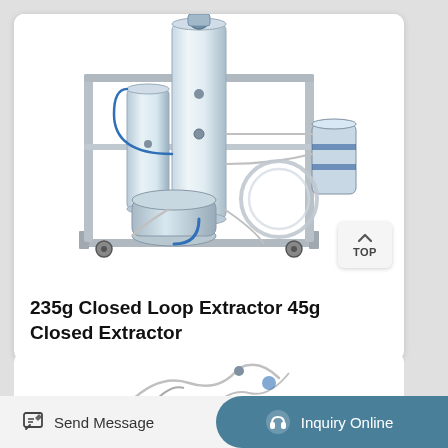[Figure (photo): Stainless steel 235g Closed Loop Extractor 45g Closed Extractor machine on a metal frame with tubes, cylinders, valves, and vessels, on wheels. White background.]
235g Closed Loop Extractor 45g Closed Extractor
[Figure (photo): Partial view of a second extractor machine at the bottom of the page, partially visible.]
Send Message
Inquiry Online